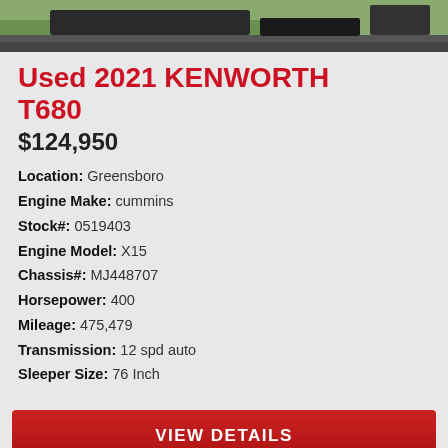[Figure (photo): Partial photo of a truck, showing the front/side with road in background]
Used 2021 KENWORTH T680
$124,950
Location: Greensboro
Engine Make: cummins
Stock#: 0519403
Engine Model: X15
Chassis#: MJ448707
Horsepower: 400
Mileage: 475,479
Transmission: 12 spd auto
Sleeper Size: 76 Inch
VIEW DETAILS
SAVE TRUCK